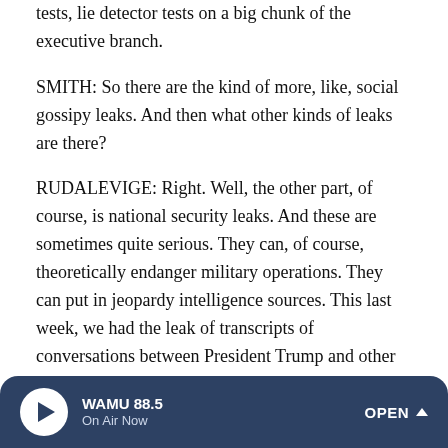tests, lie detector tests on a big chunk of the executive branch.
SMITH: So there are the kind of more, like, social gossipy leaks. And then what other kinds of leaks are there?
RUDALEVIGE: Right. Well, the other part, of course, is national security leaks. And these are sometimes quite serious. They can, of course, theoretically endanger military operations. They can put in jeopardy intelligence sources. This last week, we had the leak of transcripts of conversations between President Trump and other world leaders. You know, that kind of transcript, when I find it in my scholarly work as a researcher, is pretty exciting. It gives insight into how a president thinks and the way that
WAMU 88.5 On Air Now OPEN